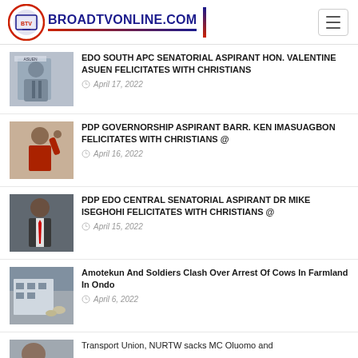BROADTVONLINE.COM
[Figure (logo): BroadTV Online logo with circular emblem and text BROADTVONLINE.COM]
EDO SOUTH APC SENATORIAL ASPIRANT HON. VALENTINE ASUEN FELICITATES WITH CHRISTIANS | April 17, 2022
PDP GOVERNORSHIP ASPIRANT BARR. KEN IMASUAGBON FELICITATES WITH CHRISTIANS @ | April 16, 2022
PDP EDO CENTRAL SENATORIAL ASPIRANT DR MIKE ISEGHOHI FELICITATES WITH CHRISTIANS @ | April 15, 2022
Amotekun And Soldiers Clash Over Arrest Of Cows In Farmland In Ondo | April 6, 2022
Transport Union, NURTW sacks MC Oluomo and...